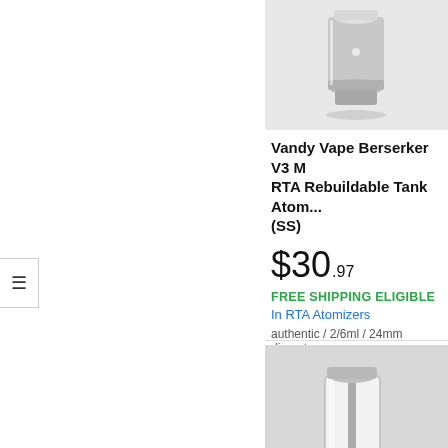[Figure (photo): Product photo of Vandy Vape Berserker V3 M RTA Rebuildable Tank Atomizer (SS), silver metallic device on light background]
Vandy Vape Berserker V3 M RTA Rebuildable Tank Atom... (SS)
$30.97
FREE SHIPPING ELIGIBLE
In RTA Atomizers
authentic / 2/6ml / 24mm diameter
⭐⭐⭐⭐⭐ (4)
[Figure (photo): Product photo of Ambition Mods Bishop³ Cu RBA Bridge Tank (Transparent), parts spread out on gray background]
Ambition Mods Bishop³ Cu RBA Bridge Tank (Transpa...